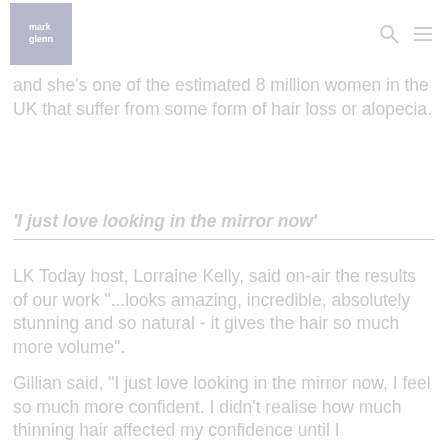mark glenn
and she's one of the estimated 8 million women in the UK that suffer from some form of hair loss or alopecia.
'I just love looking in the mirror now'
LK Today host, Lorraine Kelly, said on-air the results of our work "...looks amazing, incredible, absolutely stunning and so natural - it gives the hair so much more volume".
Gillian said, "I just love looking in the mirror now, I feel so much more confident. I didn't realise how much thinning hair affected my confidence until I